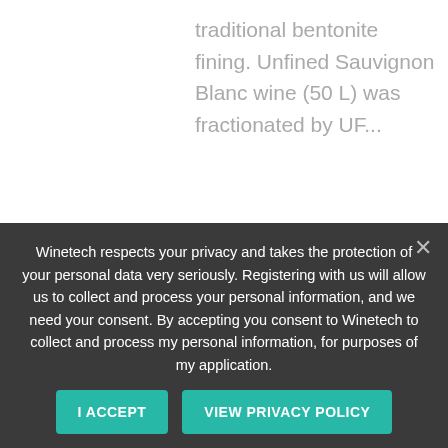traditional bentonite fining. Unfined Sauvignon Blanc wine (50 L) was fractionated by UF...
[Figure (other): Green READ ARTICLE button with rounded corners]
JUL
[Figure (photo): Partial view of article thumbnail with leaf icon and circular images]
Winetech respects your privacy and takes the protection of your personal data very seriously. Registering with us will allow us to collect and process your personal information, and we need your consent. By accepting you consent to Winetech to collect and process my personal information, for purposes of my application.
I ACCEPT
VIEW PRIVACY POLICY